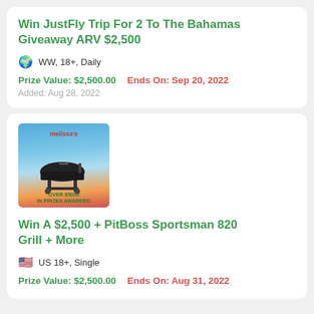Win JustFly Trip For 2 To The Bahamas Giveaway ARV $2,500
WW, 18+, Daily
Prize Value: $2,500.00   Ends On: Sep 20, 2022
Added: Aug 28, 2022
[Figure (photo): Melissa's brand promotional image showing a PitBoss pellet grill with colorful fruit decorations and text: OVER $5000 IN PRIZES AWARDED]
Win A $2,500 + PitBoss Sportsman 820 Grill + More
US 18+, Single
Prize Value: $2,500.00   Ends On: Aug 31, 2022